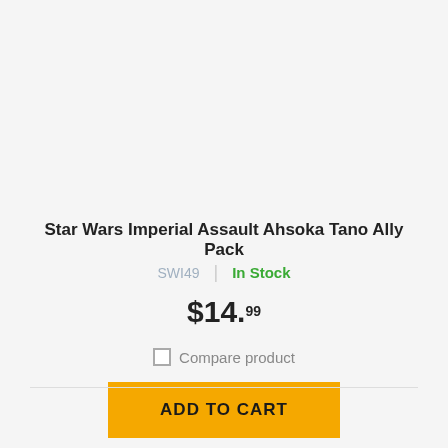Star Wars Imperial Assault Ahsoka Tano Ally Pack
SWI49 | In Stock
$14.99
Compare product
ADD TO CART